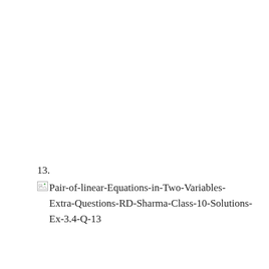13.
[Figure (other): Broken image placeholder followed by text: Pair-of-linear-Equations-in-Two-Variables-Extra-Questions-RD-Sharma-Class-10-Solutions-Ex-3.4-Q-13]